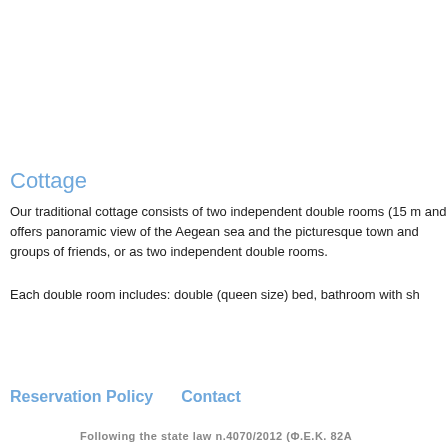Cottage
Our traditional cottage consists of two independent double rooms (15 m and offers panoramic view of the Aegean sea and the picturesque town and groups of friends, or as two independent double rooms.
Each double room includes: double (queen size) bed, bathroom with sh
Reservation Policy   Contact
Following the state law n.4070/2012 (Φ.Ε.Κ. 82Α